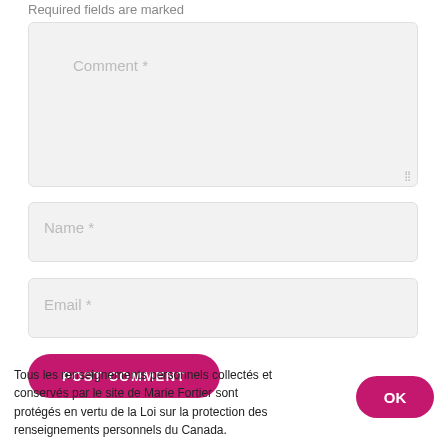Required fields are marked
[Figure (screenshot): Comment textarea input field with placeholder 'Comment *']
[Figure (screenshot): Name text input field with placeholder 'Name *']
[Figure (screenshot): Email text input field with placeholder 'Email *']
[Figure (screenshot): POST COMMENT button in dark pink/magenta color]
Tous les renseignements personnels collectés et conservés par le site de Marie Fortier sont protégés en vertu de la Loi sur la protection des renseignements personnels du Canada.
[Figure (screenshot): OK button in dark pink/magenta color]